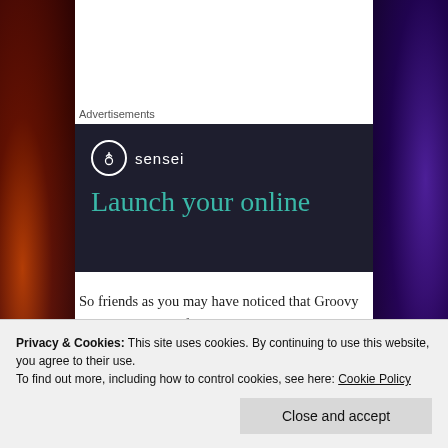Advertisements
[Figure (illustration): Sensei advertisement banner with dark navy background, Sensei logo (tree in circle) and tagline 'Launch your online']
So friends as you may have noticed that Groovy could be quite useful in an AEM project where you need to modify some content / property in one go. Do let me know if you face any other challenging issues where I could help you in using Groovy.
Privacy & Cookies: This site uses cookies. By continuing to use this website, you agree to their use.
To find out more, including how to control cookies, see here: Cookie Policy
Close and accept